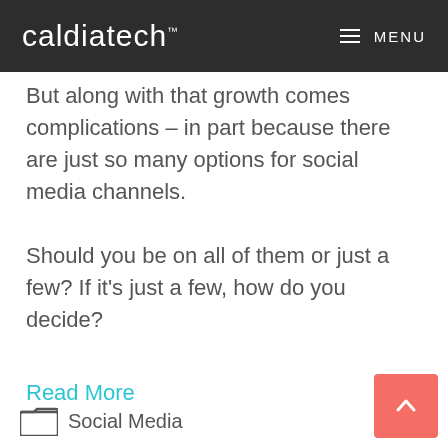caldiatech™  MENU
But along with that growth comes complications – in part because there are just so many options for social media channels.
Should you be on all of them or just a few? If it's just a few, how do you decide?
Read More
Social Media